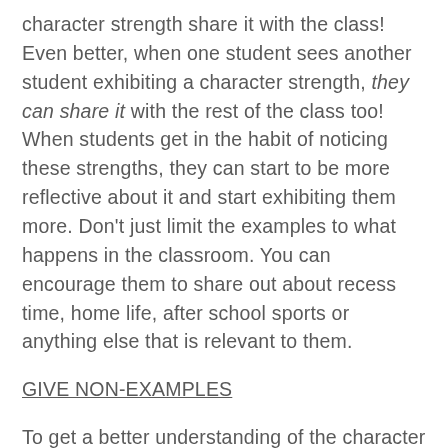character strength share it with the class! Even better, when one student sees another student exhibiting a character strength, they can share it with the rest of the class too! When students get in the habit of noticing these strengths, they can start to be more reflective about it and start exhibiting them more. Don't just limit the examples to what happens in the classroom. You can encourage them to share out about recess time, home life, after school sports or anything else that is relevant to them.
GIVE NON-EXAMPLES
To get a better understanding of the character